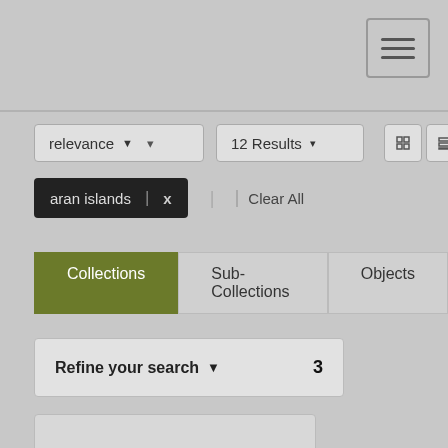[Figure (screenshot): Top navigation bar with hamburger menu button (three horizontal lines icon) in the upper right corner]
[Figure (screenshot): Search controls row: 'relevance' dropdown, '12 Results' dropdown, and four view icon toggle buttons]
[Figure (screenshot): Active filter tag showing 'aran islands | x' with a 'Clear All' link]
[Figure (screenshot): Tab navigation with three tabs: 'Collections' (active, olive/green), 'Sub-Collections', and 'Objects']
Refine your search ▼   3
[Figure (screenshot): Empty result card placeholder area]